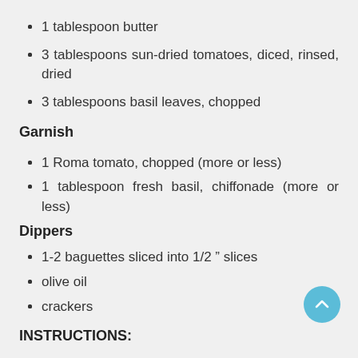1 tablespoon butter
3 tablespoons sun-dried tomatoes, diced, rinsed, dried
3 tablespoons basil leaves, chopped
Garnish
1 Roma tomato, chopped (more or less)
1 tablespoon fresh basil, chiffonade (more or less)
Dippers
1-2 baguettes sliced into 1/2 " slices
olive oil
crackers
INSTRUCTIONS: